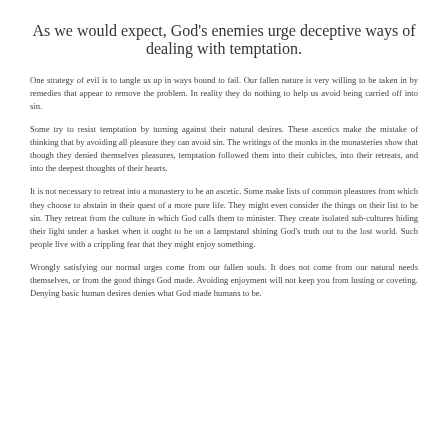As we would expect, God's enemies urge deceptive ways of dealing with temptation.
One strategy of evil is to tangle us up in ways bound to fail. Our fallen nature is very willing to be taken in by remedies that appear to remove the problem. In reality they do nothing to help us avoid being carried off into sin.
Some try to resist temptation by turning against their natural desires. These ascetics make the mistake of thinking that by avoiding all pleasure they can avoid sin. The writings of the monks in the monasteries show that though they denied themselves pleasures, temptation followed them into their cubicles, into their retreats, and into the deepest thoughts of their hearts.
It is not necessary to retreat into a monastery to be an ascetic. Some make lists of common pleasures from which they choose to abstain in their quest of a more pure life. They might even consider the things on their list to be sin. They retreat from the culture in which God calls them to minister. They create isolated sub-cultures hiding their light under a basket when it ought to be on a lampstand shining God's truth out to the lost world. Such people live with a crippling fear that they might enjoy something.
Wrongly satisfying our normal urges come from our fallen souls. It does not come from our natural needs themselves, or from the good things God made. Avoiding enjoyment will not keep you from lusting or coveting. Denying basic human desires denies what God made humans to be.